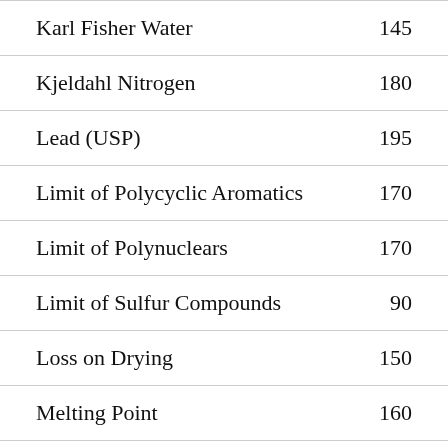| Entry | Page |
| --- | --- |
| Karl Fisher Water | 145 |
| Kjeldahl Nitrogen | 180 |
| Lead (USP) | 195 |
| Limit of Polycyclic Aromatics | 170 |
| Limit of Polynuclears | 170 |
| Limit of Sulfur Compounds | 90 |
| Loss on Drying | 150 |
| Melting Point | 160 |